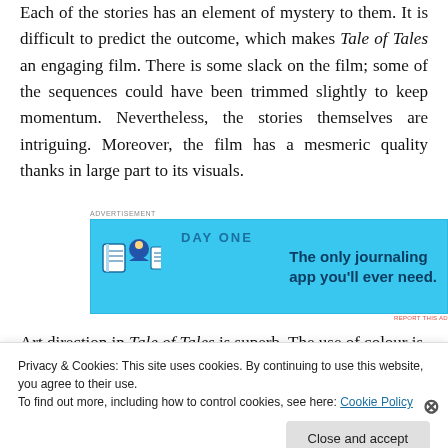Each of the stories has an element of mystery to them. It is difficult to predict the outcome, which makes Tale of Tales an engaging film. There is some slack on the film; some of the sequences could have been trimmed slightly to keep momentum. Nevertheless, the stories themselves are intriguing. Moreover, the film has a mesmeric quality thanks in large part to its visuals.
[Figure (other): Advertisement banner for Day One journaling app with blue background, app icons, and tagline 'The only journaling app you'll ever need.']
Art direction in Tale of Tales is superb. The use of colour is
Privacy & Cookies: This site uses cookies. By continuing to use this website, you agree to their use.
To find out more, including how to control cookies, see here: Cookie Policy